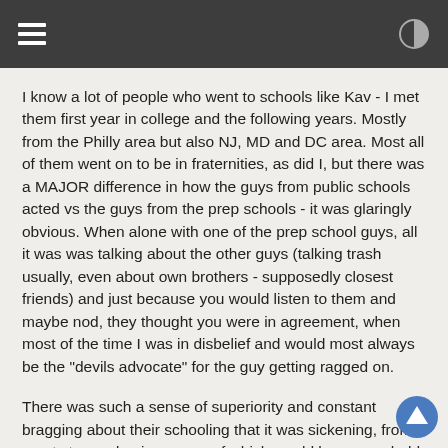[hamburger menu] [contrast toggle]
I know a lot of people who went to schools like Kav - I met them first year in college and the following years. Mostly from the Philly area but also NJ, MD and DC area. Most all of them went on to be in fraternities, as did I, but there was a MAJOR difference in how the guys from public schools acted vs the guys from the prep schools - it was glaringly obvious. When alone with one of the prep school guys, all it was was talking about the other guys (talking trash usually, even about own brothers - supposedly closest friends) and just because you would listen to them and maybe nod, they thought you were in agreement, when most of the time I was in disbelief and would most always be the "devils advocate" for the guy getting ragged on.
There was such a sense of superiority and constant bragging about their schooling that it was sickening, from sports to academics - none of which would have ever held a candle to the public school I went to especially in sports and after a few semesters I realized the same with academics (many were top in their class, 3.5gpa+) compared to a 2.5-